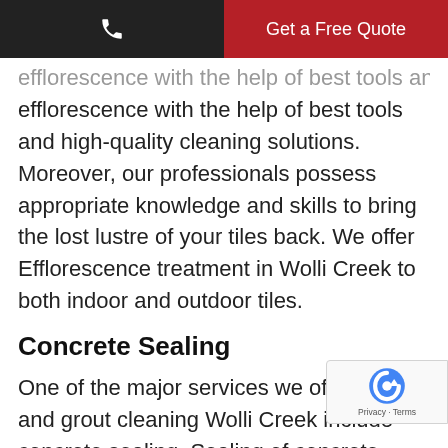Get a Free Quote
efflorescence with the help of best tools and high-quality cleaning solutions. Moreover, our professionals possess appropriate knowledge and skills to bring the lost lustre of your tiles back. We offer Efflorescence treatment in Wolli Creek to both indoor and outdoor tiles.
Concrete Sealing
One of the major services we offer for tile and grout cleaning Wolli Creek include concrete sealing. Sealing of concrete floors works best to repel stains, dirt, grime and contaminants. Sealer keeps the stains, contaminants and pollutants onto the surface and stops it from penetrating